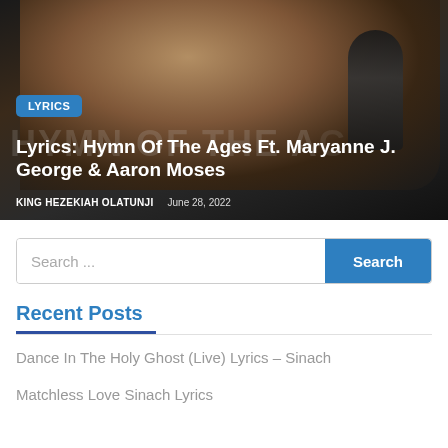[Figure (photo): Photo of a young woman singing joyfully into a microphone, with text overlay showing LYRICS badge, article title, author, and date]
Lyrics: Hymn Of The Ages Ft. Maryanne J. George & Aaron Moses
KING HEZEKIAH OLATUNJI   June 28, 2022
Search ...
Recent Posts
Dance In The Holy Ghost (Live) Lyrics – Sinach
Matchless Love Sinach Lyrics